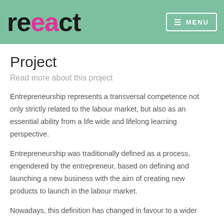react — MENU
Project
Read more about this project
Entrepreneurship represents a transversal competence not only strictly related to the labour market, but also as an essential ability from a life wide and lifelong learning perspective.
Entrepreneurship was traditionally defined as a process, engendered by the entrepreneur, based on defining and launching a new business with the aim of creating new products to launch in the labour market.
Nowadays, this definition has changed in favour to a wider